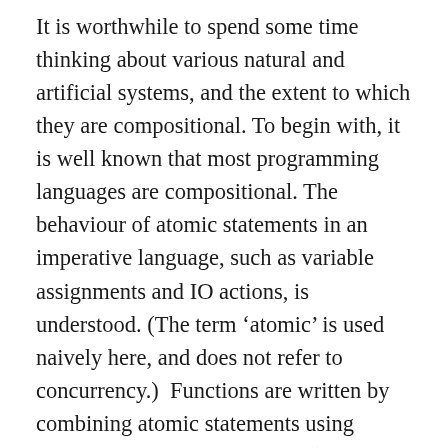It is worthwhile to spend some time thinking about various natural and artificial systems, and the extent to which they are compositional. To begin with, it is well known that most programming languages are compositional. The behaviour of atomic statements in an imperative language, such as variable assignments and IO actions, is understood. (The term 'atomic' is used naively here, and does not refer to concurrency.)  Functions are written by combining atomic statements using constructs such as sequencing (the 'semicolon' in C-like syntax), conditionals and loops, and the behaviour of the whole is understood in terms of the behaviour of the parts together with the ways in which they are combined. This scales